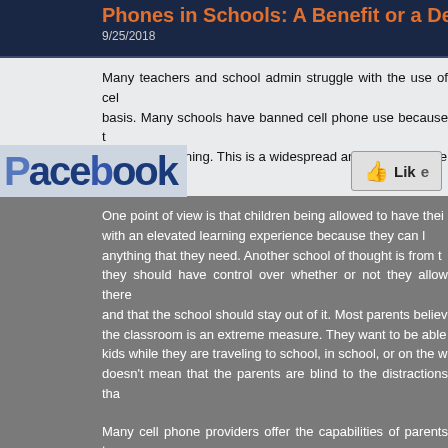Phones in Schools: A Benefit or a Deficit?
9/25/2018
Many teachers and school admin struggle with the use of cell phones on a daily basis. Many schools have banned cell phone use because their negative impact on learning. This is a widespread and widely debated topic with many views on it.
[Figure (logo): Facebook logo overlay with Like button]
One point of view is that children being allowed to have their phones provides them with an elevated learning experience because they can look up anything that they need. Another school of thought is from the parents who feel they should have control over whether or not they allow there kids to have phones and that the school should stay out of it. Most parents believe banning phones from the classroom is an extreme measure. They want to be able to get in touch with their kids while they are traveling to school, in school, or on the way home. That doesn't mean that the parents are blind to the distractions that phones can cause.
Many cell phone providers offer the capabilities of parents to block their kids from certain things, like the internet, unless they're allowed to. This could resolve phone use in schools. Parents want the ability to decide without the school telling them. Most schools, even if they haven't banned cell...